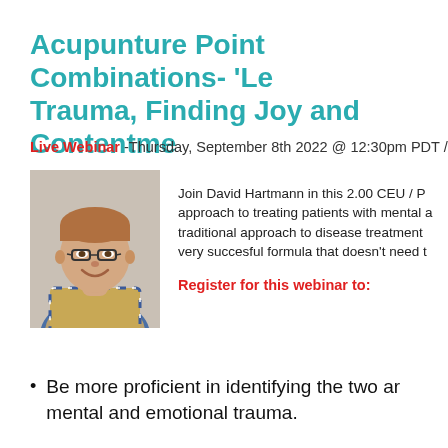Acupunture Point Combinations- 'Le Trauma, Finding Joy and Contentme
Live Webinar - Thursday, September 8th 2022 @ 12:30pm PDT /
[Figure (photo): Headshot photo of David Hartmann, a man with glasses and a plaid shirt, smiling]
Join David Hartmann in this 2.00 CEU / P approach to treating patients with mental a traditional approach to disease treatment very succesful formula that doesn't need t
Register for this webinar to:
Be more proficient in identifying the two ar mental and emotional trauma.